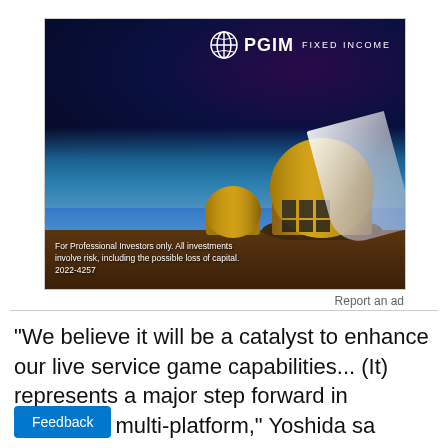[Figure (photo): PGIM Fixed Income advertisement showing astronomical observatories under a starry night sky. The PGIM Fixed Income logo appears in the top right. Text at bottom left reads: For Professional Investors only. All investments involve risk, including the possible loss of capital. 2022-4257]
Report an ad
"We believe it will be a catalyst to enhance our live service game capabilities... (It) represents a major step forward in becoming multi-platform," Yoshida sa
Feedback